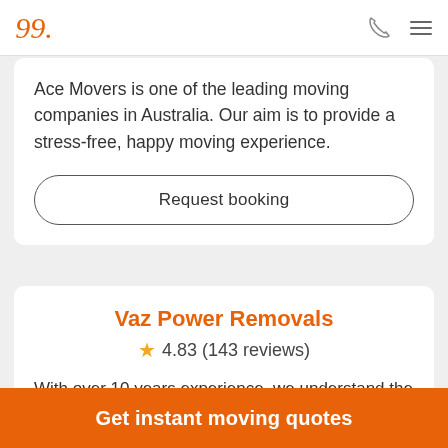Navigation bar with logo, phone icon, and menu icon
Ace Movers is one of the leading moving companies in Australia. Our aim is to provide a stress-free, happy moving experience.
Request booking
Vaz Power Removals
4.83 (143 reviews)
With over 10 years experience, we understand the customers needs, for us, it's NOT just money, it's all
Get instant moving quotes